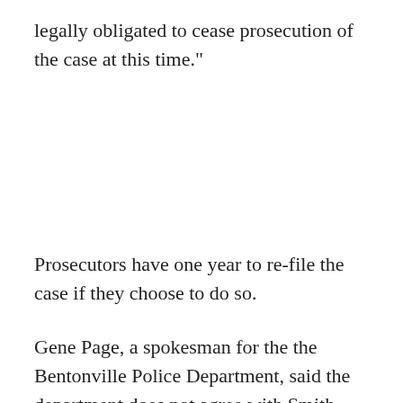legally obligated to cease prosecution of the case at this time."
Prosecutors have one year to re-file the case if they choose to do so.
Gene Page, a spokesman for the the Bentonville Police Department, said the department does not agree with Smith